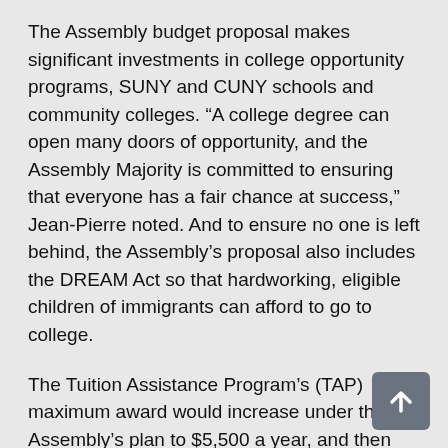The Assembly budget proposal makes significant investments in college opportunity programs, SUNY and CUNY schools and community colleges. “A college degree can open many doors of opportunity, and the Assembly Majority is committed to ensuring that everyone has a fair chance at success,” Jean-Pierre noted. And to ensure no one is left behind, the Assembly’s proposal also includes the DREAM Act so that hardworking, eligible children of immigrants can afford to go to college.
The Tuition Assistance Program’s (TAP) maximum award would increase under the Assembly’s plan to $5,500 a year, and then increase to $6,500 over a four-year period. The Assembly’s plan also increases funding for all college opportunity programs by $23.8 million and makes changes to the proposed Excelsior Program to help more middle-class families send their kids to college. The Assembly’s plan loosens eligibility